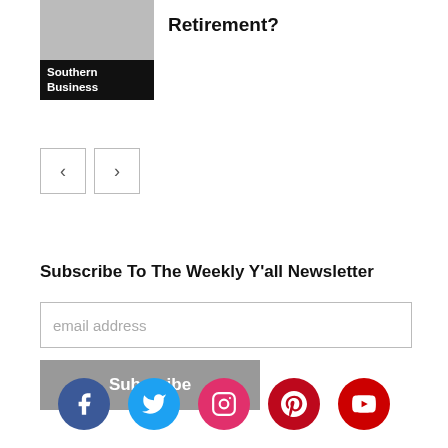[Figure (photo): Partial photo with Southern Business label overlay]
Retirement?
[Figure (other): Navigation arrows left and right]
Subscribe To The Weekly Y'all Newsletter
email address
Subscribe
[Figure (infographic): Social media icons row: Facebook, Twitter, Instagram, Pinterest, YouTube]